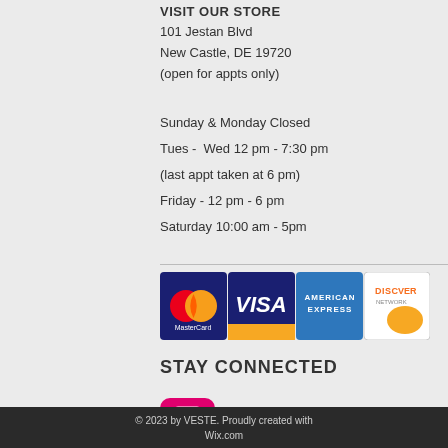VISIT OUR STORE
101 Jestan Blvd
New Castle, DE 19720
(open for appts only)
Sunday & Monday Closed
Tues -  Wed 12 pm - 7:30 pm
(last appt taken at 6 pm)
Friday - 12 pm - 6 pm
Saturday 10:00 am - 5pm
[Figure (infographic): Payment method logos: MasterCard, VISA, American Express, Discover]
STAY CONNECTED
[Figure (infographic): Social media icons: Instagram (pink/magenta square with camera icon) and Facebook (grey 'f' letter icon)]
© 2023 by VESTE. Proudly created with Wix.com